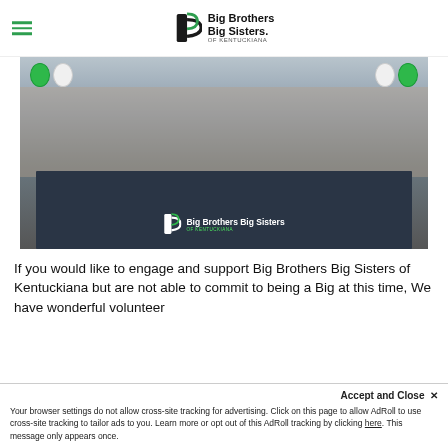Big Brothers Big Sisters of Kentuckiana
[Figure (photo): Two women seated at a table covered with a Big Brothers Big Sisters of Kentuckiana branded dark tablecloth, with a man standing behind them. Green and white balloons are visible in the background.]
If you would like to engage and support Big Brothers Big Sisters of Kentuckiana but are not able to commit to being a Big at this time, We have wonderful volunteer opportunities available all around the Big Brothers Big Sisters agency and
Accept and Close ✕
Your browser settings do not allow cross-site tracking for advertising. Click on this page to allow AdRoll to use cross-site tracking to tailor ads to you. Learn more or opt out of this AdRoll tracking by clicking here. This message only appears once.